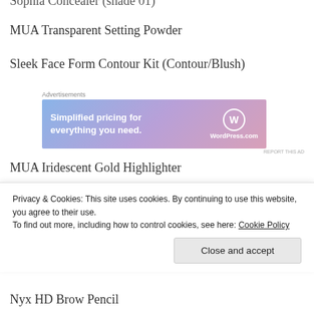Sophia Concealer (shade 01)
MUA Transparent Setting Powder
Sleek Face Form Contour Kit (Contour/Blush)
[Figure (screenshot): WordPress.com advertisement banner with text 'Simplified pricing for everything you need.' and WordPress logo]
MUA Iridescent Gold Highlighter
Revolution Eye shadow Palette – I'm not sure what palette it is I have off the top of my head but
Privacy & Cookies: This site uses cookies. By continuing to use this website, you agree to their use. To find out more, including how to control cookies, see here: Cookie Policy
Nyx HD Brow Pencil